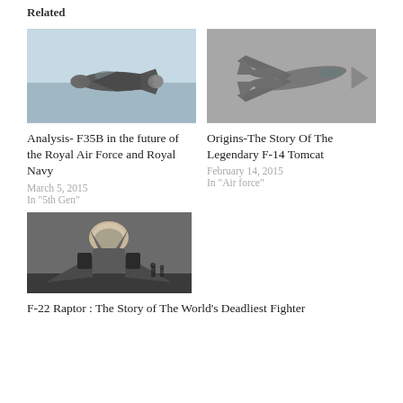Related
[Figure (photo): F-35B fighter jet flying in the air, viewed from above, light blue sky background]
[Figure (photo): F-14 Tomcat fighter jet in flight, grey sky background, viewed from below-side angle]
Analysis- F35B in the future of the Royal Air Force and Royal Navy
March 5, 2015
In "5th Gen"
Origins-The Story Of The Legendary F-14 Tomcat
February 14, 2015
In "Air force"
[Figure (photo): F-22 Raptor fighter jet viewed from nose-on perspective showing cockpit dome and delta wings, dark background with ground crew visible]
F-22 Raptor : The Story of The World's Deadliest Fighter